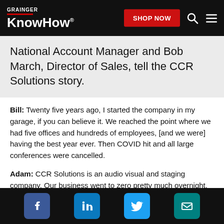GRAINGER KnowHow® — SHOP NOW
National Account Manager and Bob March, Director of Sales, tell the CCR Solutions story.
Bill: Twenty five years ago, I started the company in my garage, if you can believe it. We reached the point where we had five offices and hundreds of employees, [and we were] having the best year ever. Then COVID hit and all large conferences were cancelled.
Adam: CCR Solutions is an audio visual and staging company. Our business went to zero pretty much overnight. It's been pretty difficult for us. I have to credit our senior management team for getting together, and
Social icons: Facebook, LinkedIn, Twitter, Email